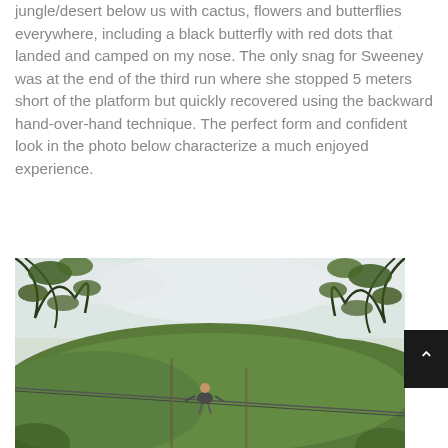jungle/desert below us with cactus, flowers and butterflies everywhere, including a black butterfly with red dots that landed and camped on my nose. The only snag for Sweeney was at the end of the third run where she stopped 5 meters short of the platform but quickly recovered using the backward hand-over-hand technique. The perfect form and confident look in the photo below characterize a much enjoyed experience.
[Figure (photo): Outdoor photo showing a person zip-lining on a cable through tropical jungle/forest vegetation with green hills in the background and tree branches framing the top of the image. Sky is overcast/cloudy.]